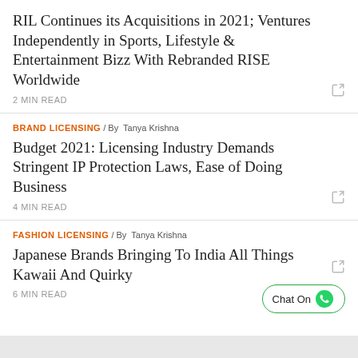RIL Continues its Acquisitions in 2021; Ventures Independently in Sports, Lifestyle & Entertainment Bizz With Rebranded RISE Worldwide
2 MIN READ
BRAND LICENSING / By Tanya Krishna
Budget 2021: Licensing Industry Demands Stringent IP Protection Laws, Ease of Doing Business
4 MIN READ
FASHION LICENSING / By Tanya Krishna
Japanese Brands Bringing To India All Things Kawaii And Quirky
6 MIN READ